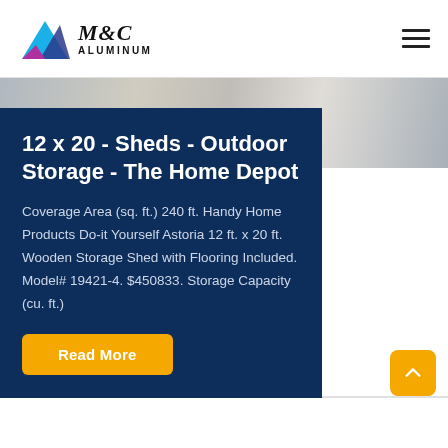M&C ALUMINUM
[Figure (photo): Close-up photo of metal/aluminum material, light grey tones]
12 x 20 - Sheds - Outdoor Storage - The Home Depot
Coverage Area (sq. ft.) 240 ft. Handy Home Products Do-it Yourself Astoria 12 ft. x 20 ft. Wooden Storage Shed with Flooring Included. Model# 19421-4. $450833. Storage Capacity (cu. ft.)
Read More